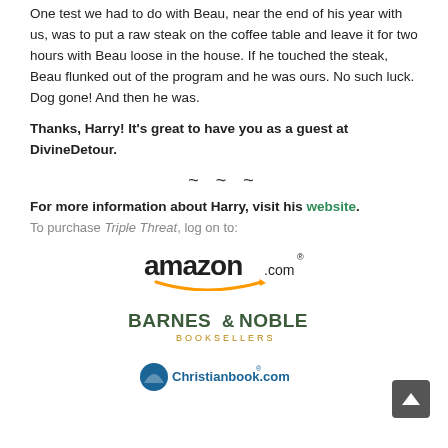One test we had to do with Beau, near the end of his year with us, was to put a raw steak on the coffee table and leave it for two hours with Beau loose in the house. If he touched the steak, Beau flunked out of the program and he was ours. No such luck. Dog gone! And then he was.
Thanks, Harry! It's great to have you as a guest at DivineDetour.
~ ~ ~
For more information about Harry, visit his website.
To purchase Triple Threat, log on to:
[Figure (logo): Amazon.com logo with orange arrow smile beneath text]
[Figure (logo): Barnes & Noble Booksellers logo in dark green/olive text]
[Figure (logo): Christianbook.com logo with blue circle emblem]